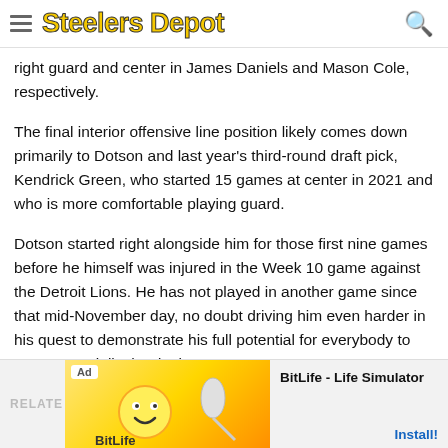Steelers Depot
right guard and center in James Daniels and Mason Cole, respectively.
The final interior offensive line position likely comes down primarily to Dotson and last year's third-round draft pick, Kendrick Green, who started 15 games at center in 2021 and who is more comfortable playing guard.
Dotson started right alongside him for those first nine games before he himself was injured in the Week 10 game against the Detroit Lions. He has not played in another game since that mid-November day, no doubt driving him even harder in his quest to demonstrate his full potential for everybody to see—especially the doubters.
[Figure (screenshot): Advertisement banner for BitLife - Life Simulator app with colorful graphic and Install button]